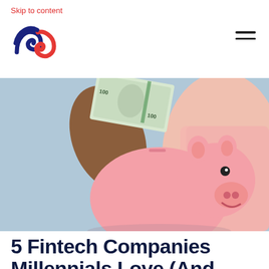Skip to content
[Figure (logo): NBS or similar fintech brand logo with red and blue interlinked shapes]
[Figure (photo): Person holding a $100 bill above a pink piggy bank against a light blue background]
5 Fintech Companies Millennials Love (And